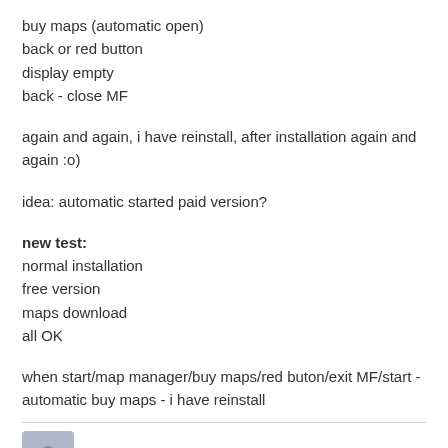buy maps (automatic open)
back or red button
display empty
back - close MF
again and again, i have reinstall, after installation again and again :o)
idea: automatic started paid version?
new test:
normal installation
free version
maps download
all OK
when start/map manager/buy maps/red buton/exit MF/start - automatic buy maps - i have reinstall
tomas   March 2019
try to rest to default in settings/advanced
please select Backup and delete
I would recommend to backup folder